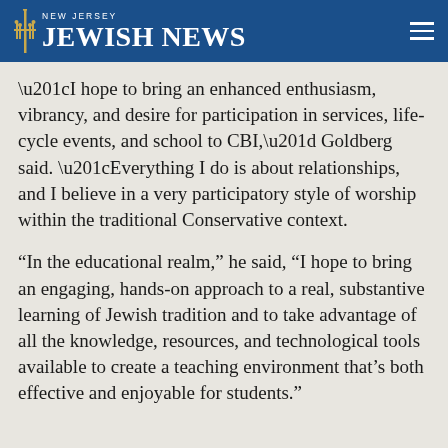NEW JERSEY JEWISH NEWS
“I hope to bring an enhanced enthusiasm, vibrancy, and desire for participation in services, life-cycle events, and school to CBI,” Goldberg said. “Everything I do is about relationships, and I believe in a very participatory style of worship within the traditional Conservative context.
“In the educational realm,” he said, “I hope to bring an engaging, hands-on approach to a real, substantive learning of Jewish tradition and to take advantage of all the knowledge, resources, and technological tools available to create a teaching environment that’s both effective and enjoyable for students.”